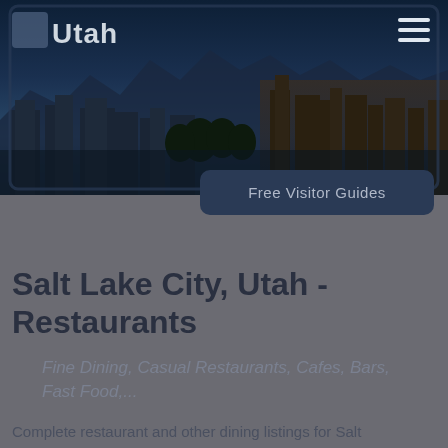[Figure (photo): Aerial/skyline photo of Salt Lake City, Utah at dusk with mountains in background, overlaid with dark blue gradient. Header navigation bar with Utah logo/text and hamburger menu icon.]
Free Visitor Guides
Salt Lake City, Utah - Restaurants
Fine Dining, Casual Restaurants, Cafes, Bars, Fast Food,...
Complete restaurant and other dining listings for Salt